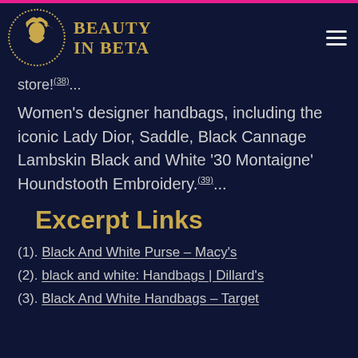BEAUTY IN BETA
store!(38)...
Women's designer handbags, including the iconic Lady Dior, Saddle, Black Cannage Lambskin Black and White '30 Montaigne' Houndstooth Embroidery.(39)...
Excerpt Links
(1). Black And White Purse – Macy's
(2). black and white: Handbags | Dillard's
(3). Black And White Handbags – Target